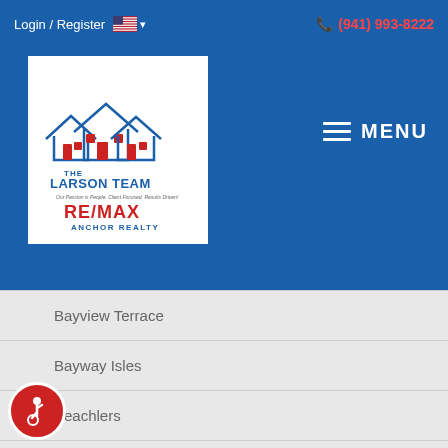Login / Register   (941) 993-8222
[Figure (logo): The Larson Team RE/MAX Anchor Realty logo — blue house outlines with red accents on white background]
MENU
Bayview Terrace
Bayway Isles
Beachlers
Beauclaire Highlands
Behlkes
Bell Place
Bellecrest Heights
Bellwood